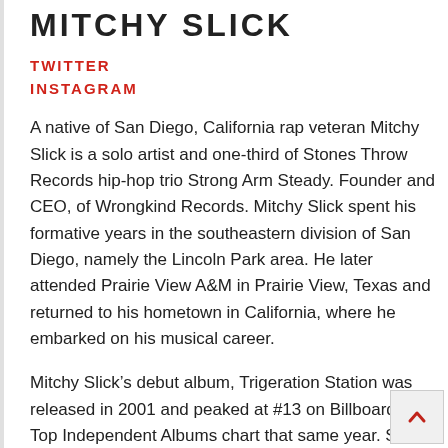MITCHY SLICK
TWITTER
INSTAGRAM
A native of San Diego, California rap veteran Mitchy Slick is a solo artist and one-third of Stones Throw Records hip-hop trio Strong Arm Steady. Founder and CEO, of Wrongkind Records. Mitchy Slick spent his formative years in the southeastern division of San Diego, namely the Lincoln Park area. He later attended Prairie View A&M in Prairie View, Texas and returned to his hometown in California, where he embarked on his musical career.
Mitchy Slick’s debut album, Trigeration Station was released in 2001 and peaked at #13 on Billboard’s Top Independent Albums chart that same year. Since his debut, Slick has released numerous mixtapes including the XXL Supe…